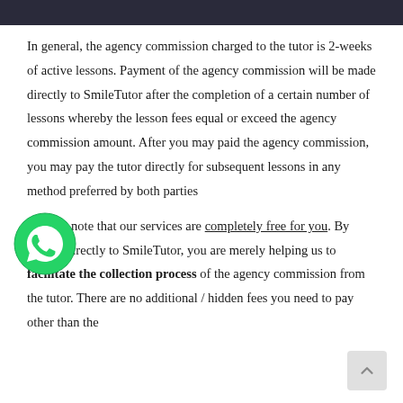In general, the agency commission charged to the tutor is 2-weeks of active lessons. Payment of the agency commission will be made directly to SmileTutor after the completion of a certain number of lessons whereby the lesson fees equal or exceed the agency commission amount. After you may paid the agency commission, you may pay the tutor directly for subsequent lessons in any method preferred by both parties
Do take note that our services are completely free for you. By paying directly to SmileTutor, you are merely helping us to facilitate the collection process of the agency commission from the tutor. There are no additional / hidden fees you need to pay other than the